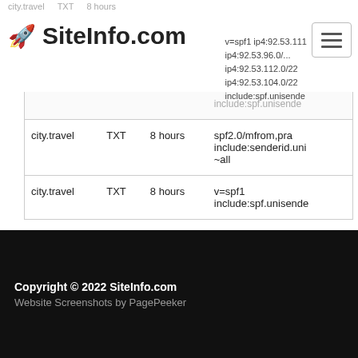city.travel  TXT  8 hours  v=spf1 ip4:92.53.111... ip4:92.53.96.0/... ip4:92.53.112.0/22 ip4:92.53.104.0/22 include:spf.unisende...
SiteInfo.com
| city.travel | TXT | 8 hours | spf2.0/mfrom,pra include:senderid.uni ~all |
| city.travel | TXT | 8 hours | v=spf1 include:spf.unisende... |
Copyright © 2022 SiteInfo.com
Website Screenshots by PagePeeker